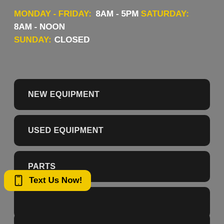MONDAY - FRIDAY:
8AM - 5PM
SATURDAY:
8AM - NOON
SUNDAY: CLOSED
NEW EQUIPMENT
USED EQUIPMENT
PARTS
SERVICES
Text Us Now!